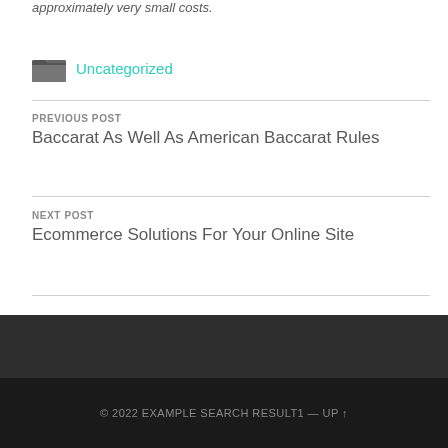approximately very small costs.
Uncategorized
PREVIOUS POST
Baccarat As Well As American Baccarat Rules
NEXT POST
Ecommerce Solutions For Your Online Site
© 2022 EXAMPLE SEARCH RESULT1 — UP ↑